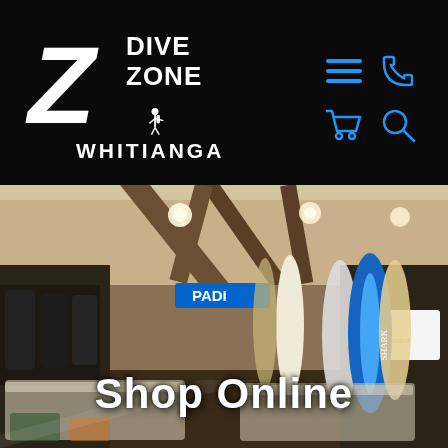[Figure (logo): Dive Zone Whitianga logo - white text on black background with diver silhouette]
[Figure (screenshot): Interior of Dive Zone Whitianga dive shop showing surfboards, scuba equipment, display cases, PADI signage, and mares branding]
Shop Online